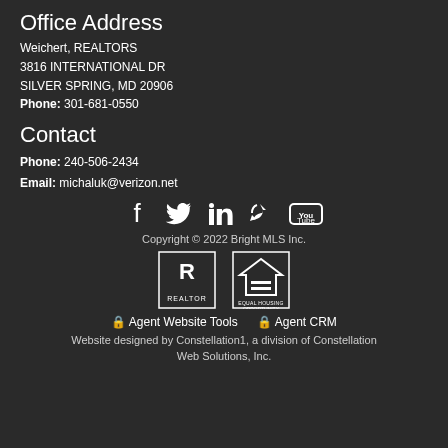Office Address
Weichert, REALTORS
3816 INTERNATIONAL DR
SILVER SPRING, MD 20906
Phone: 301-681-0550
Contact
Phone: 240-506-2434
Email: michaluk@verizon.net
[Figure (infographic): Social media icons: Facebook, Twitter, LinkedIn, Share, YouTube]
Copyright © 2022 Bright MLS Inc.
[Figure (logo): Realtor logo and Equal Housing Opportunity logo]
🔒 Agent Website Tools   🔒 Agent CRM
Website designed by Constellation1, a division of Constellation Web Solutions, Inc.